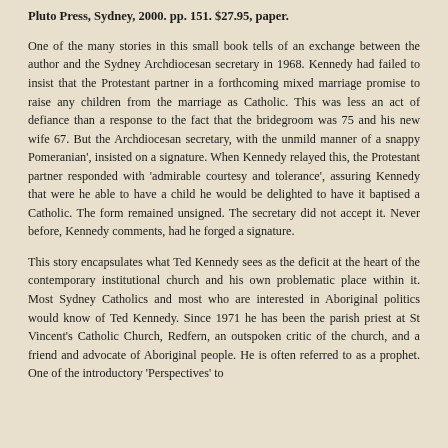Pluto Press, Sydney, 2000. pp. 151. $27.95, paper.
One of the many stories in this small book tells of an exchange between the author and the Sydney Archdiocesan secretary in 1968. Kennedy had failed to insist that the Protestant partner in a forthcoming mixed marriage promise to raise any children from the marriage as Catholic. This was less an act of defiance than a response to the fact that the bridegroom was 75 and his new wife 67. But the Archdiocesan secretary, with the unmild manner of a snappy Pomeranian', insisted on a signature. When Kennedy relayed this, the Protestant partner responded with 'admirable courtesy and tolerance', assuring Kennedy that were he able to have a child he would be delighted to have it baptised a Catholic. The form remained unsigned. The secretary did not accept it. Never before, Kennedy comments, had he forged a signature.
This story encapsulates what Ted Kennedy sees as the deficit at the heart of the contemporary institutional church and his own problematic place within it. Most Sydney Catholics and most who are interested in Aboriginal politics would know of Ted Kennedy. Since 1971 he has been the parish priest at St Vincent's Catholic Church, Redfern, an outspoken critic of the church, and a friend and advocate of Aboriginal people. He is often referred to as a prophet. One of the introductory 'Perspectives' to